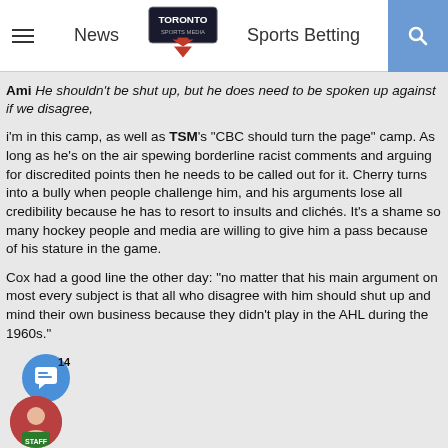News | Toronto Sports Media | Sports Betting
Ami He shouldn't be shut up, but he does need to be spoken up against if we disagree,
i'm in this camp, as well as TSM's "CBC should turn the page" camp. As long as he's on the air spewing borderline racist comments and arguing for discredited points then he needs to be called out for it. Cherry turns into a bully when people challenge him, and his arguments lose all credibility because he has to resort to insults and clichés. It's a shame so many hockey people and media are willing to give him a pass because of his stature in the game.
Cox had a good line the other day: "no matter that his main argument on most every subject is that all who disagree with him should shut up and mind their own business because they didn't play in the AHL during the 1960s."